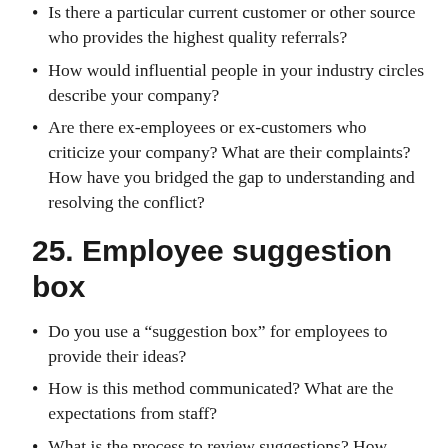Is there a particular current customer or other source who provides the highest quality referrals?
How would influential people in your industry circles describe your company?
Are there ex-employees or ex-customers who criticize your company? What are their complaints? How have you bridged the gap to understanding and resolving the conflict?
25. Employee suggestion box
Do you use a “suggestion box” for employees to provide their ideas?
How is this method communicated? What are the expectations from staff?
What is the process to review suggestions? How